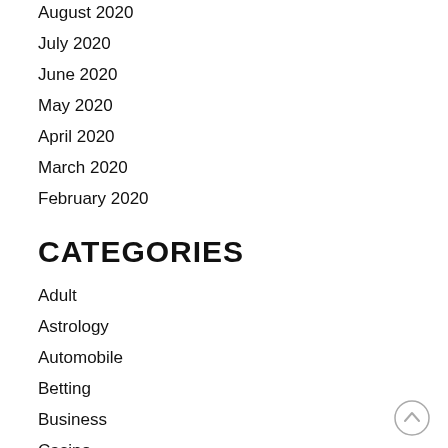August 2020
July 2020
June 2020
May 2020
April 2020
March 2020
February 2020
CATEGORIES
Adult
Astrology
Automobile
Betting
Business
Casino